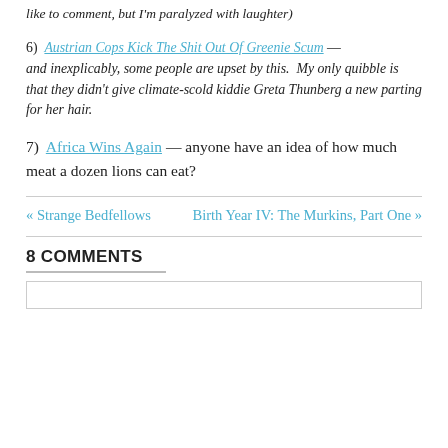like to comment, but I'm paralyzed with laughter)
6)  Austrian Cops Kick The Shit Out Of Greenie Scum — and inexplicably, some people are upset by this.  My only quibble is that they didn't give climate-scold kiddie Greta Thunberg a new parting for her hair.
7)  Africa Wins Again — anyone have an idea of how much meat a dozen lions can eat?
« Strange Bedfellows    Birth Year IV: The Murkins, Part One »
8 COMMENTS